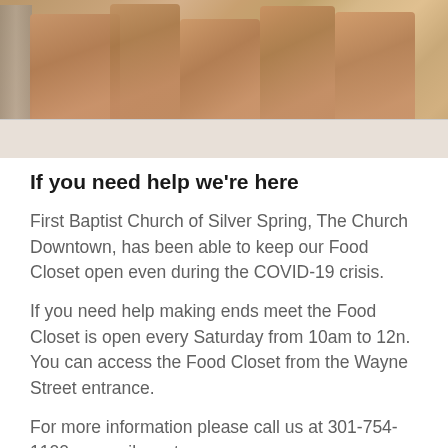[Figure (photo): Photo of brown paper grocery bags sitting on a white table, with shelving visible on the left side, representing a food closet distribution setup.]
If you need help we're here
First Baptist Church of Silver Spring, The Church Downtown, has been able to keep our Food Closet open even during the COVID-19 crisis.
If you need help making ends meet the Food Closet is open every Saturday from 10am to 12n. You can access the Food Closet from the Wayne Street entrance.
For more information please call us at 301-754-1100 or email us at